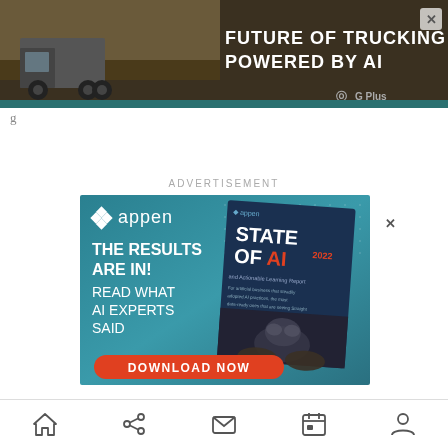[Figure (other): Banner advertisement: Future of Trucking Powered by AI, with truck image and G+ Plus branding]
ADVERTISEMENT
[Figure (other): Appen advertisement: THE RESULTS ARE IN! READ WHAT AI EXPERTS SAID - State of AI 2022 report, with DOWNLOAD NOW button]
“IoT is transforming every industry from retail and